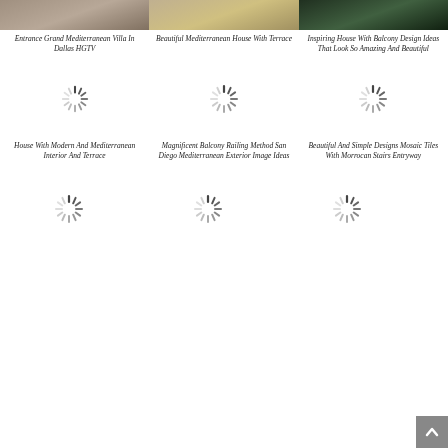[Figure (photo): Top partial image strip - Entrance Grand Mediterranean Villa]
[Figure (photo): Top partial image strip - Beautiful Mediterranean House With Terrace]
[Figure (photo): Top partial image strip - Inspiring House With Balcony Design Ideas]
Entrance Grand Mediterranean Villa In Dallas HGTV
Beautiful Mediterranean House With Terrace
Inspiring House With Balcony Design Ideas That Look So Amazing And Beautiful
[Figure (other): Loading spinner placeholder]
[Figure (other): Loading spinner placeholder]
[Figure (other): Loading spinner placeholder]
House With Modern And Mediterranean Interior And Terrace
Magnificent Balcony Railing Method San Diego Mediterranean Exterior Image Ideas
Beautiful And Simple Designs Mosaic Tiles With Morrocan Stairs Entryway
[Figure (other): Loading spinner placeholder]
[Figure (other): Loading spinner placeholder]
[Figure (other): Loading spinner placeholder]